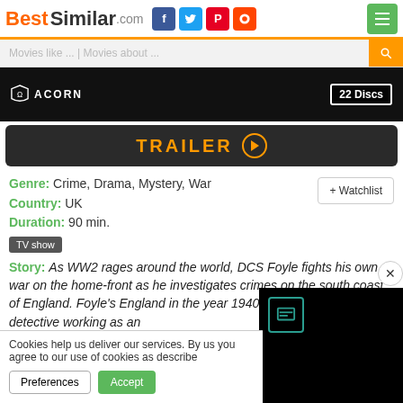BestSimilar.com
Movies like ... | Movies about ...
[Figure (screenshot): Dark banner image with Acorn logo on left and '22 Discs' badge on right]
TRAILER
Genre: Crime, Drama, Mystery, War
Country: UK
Duration: 90 min.
TV show
Story: As WW2 rages around the world, DCS Foyle fights his own war on the home-front as he investigates crimes on the south coast of England. Foyle's [England in the year 1940. Later s[detective working as an
Cookies help us deliver our services. By us[ you agree to our use of cookies as describe[